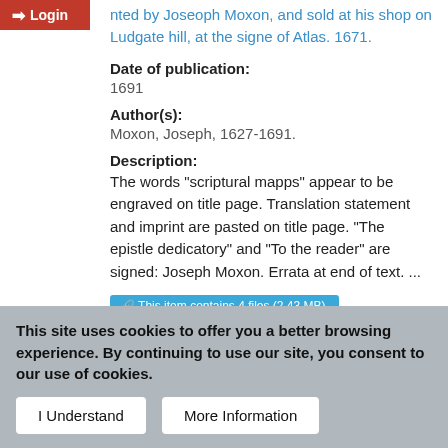nted by Joseoph Moxon, and sold at his shop on Ludgate hill, at the signe of Atlas. 1671.
Date of publication:
1691
Author(s):
Moxon, Joseph, 1627-1691.
Description:
The words "scriptural mapps" appear to be engraved on title page. Translation statement and imprint are pasted on title page. "The epistle dedicatory" and "To the reader" are signed: Joseph Moxon. Errata at end of text. ...
This item contains 4 files (2.43 MB).
This site uses cookies to offer you a better browsing experience. By continuing to use our site, you consent to our use of cookies.